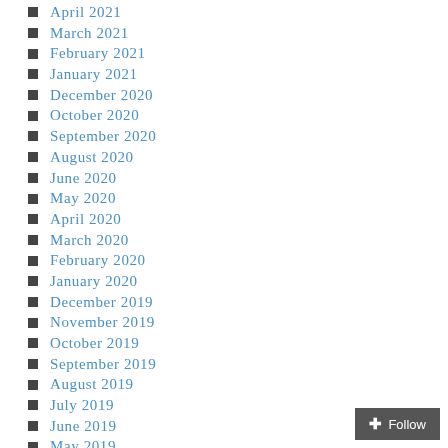April 2021
March 2021
February 2021
January 2021
December 2020
October 2020
September 2020
August 2020
June 2020
May 2020
April 2020
March 2020
February 2020
January 2020
December 2019
November 2019
October 2019
September 2019
August 2019
July 2019
June 2019
May 2019
April 2019
March 2019
February 2019